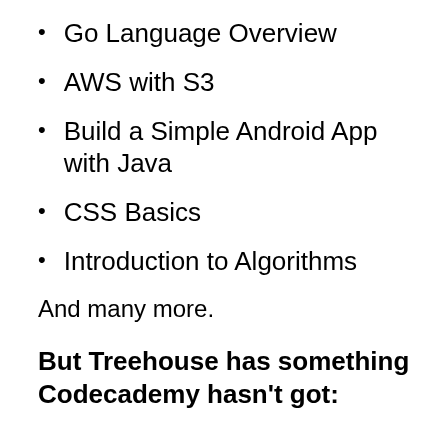Go Language Overview
AWS with S3
Build a Simple Android App with Java
CSS Basics
Introduction to Algorithms
And many more.
But Treehouse has something Codecademy hasn't got: